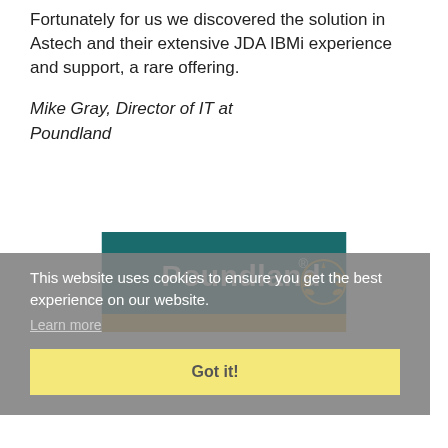Fortunately for us we discovered the solution in Astech and their extensive JDA IBMi experience and support, a rare offering.
Mike Gray, Director of IT at Poundland
[Figure (logo): Poundland logo — white bold text 'Poundland' with registered trademark symbol and a gold laurel wreath emblem on a teal/dark green background with a gold bottom border stripe]
This website uses cookies to ensure you get the best experience on our website.
Learn more
Got it!